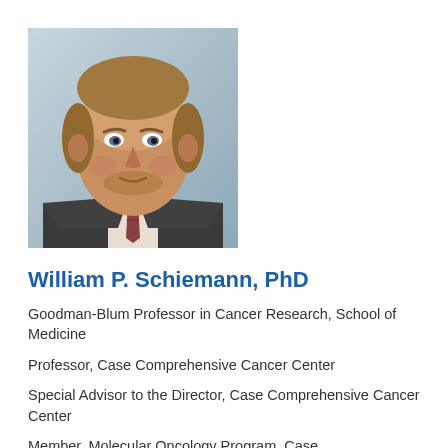[Figure (photo): Professional headshot of William P. Schiemann, a middle-aged man with light brown hair and beard stubble, wearing a dark suit jacket, light dress shirt, and patterned tie, photographed against a light gray/blue background.]
William P. Schiemann, PhD
Goodman-Blum Professor in Cancer Research, School of Medicine
Professor, Case Comprehensive Cancer Center
Special Advisor to the Director, Case Comprehensive Cancer Center
Member, Molecular Oncology Program, Case...